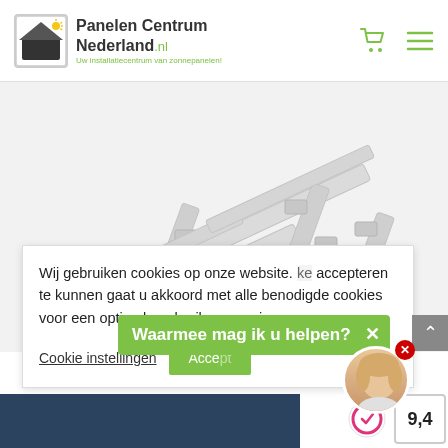[Figure (screenshot): Panelen Centrum Nederland website header with logo, shopping cart icon, and hamburger menu]
[Figure (photo): Isometric illustration of solar panel mounting rail system on white/light grey background]
Wij gebruiken cookies op onze website. accepteren te kunnen gaat u akkoord met alle benodigde cookies voor een optimale gebruikerservaring.
Cookie instellingen
Accepteren
Waarmee mag ik u helpen?
[Figure (photo): Chat support avatar showing a woman with blonde hair]
9,4